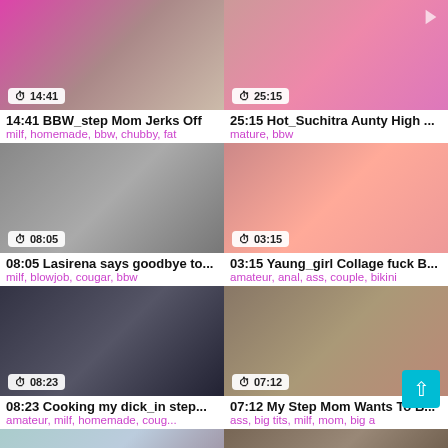[Figure (screenshot): Video thumbnail for 14:41 BBW_step Mom Jerks Off]
14:41 BBW_step Mom Jerks Off
milf, homemade, bbw, chubby, fat
[Figure (screenshot): Video thumbnail for 25:15 Hot_Suchitra Aunty High ...]
25:15 Hot_Suchitra Aunty High ...
mature, bbw
[Figure (screenshot): Video thumbnail for 08:05 Lasirena says goodbye to...]
08:05 Lasirena says goodbye to...
milf, blowjob, cougar, bbw
[Figure (screenshot): Video thumbnail for 03:15 Yaung_girl Collage fuck B...]
03:15 Yaung_girl Collage fuck B...
amateur, anal, ass, couple, bikini
[Figure (screenshot): Video thumbnail for 08:23 Cooking my dick_in step...]
08:23 Cooking my dick_in step...
amateur, milf, homemade, coug...
[Figure (screenshot): Video thumbnail for 07:12 My Step Mom Wants To B...]
07:12 My Step Mom Wants To B...
ass, big tits, milf, mom, big a